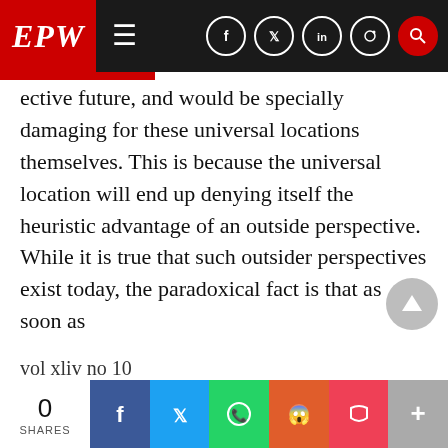EPW
ective future, and would be specially damaging for these universal locations themselves. This is because the universal location will end up denying itself the heuristic advantage of an outside perspective. While it is true that such outsider perspectives exist today, the paradoxical fact is that as soon as
vol xliv no 10
their worth is realised they begin to be domesticated, and end up as “resident aliens” living in the universal location. This ensures that, eventually, there is no real “outside” left. It is crucially important that every location have an
0 SHARES